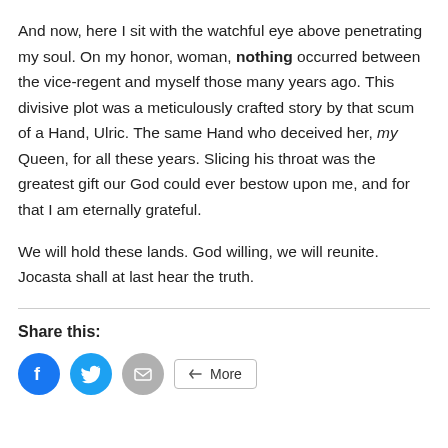And now, here I sit with the watchful eye above penetrating my soul. On my honor, woman, nothing occurred between the vice-regent and myself those many years ago. This divisive plot was a meticulously crafted story by that scum of a Hand, Ulric. The same Hand who deceived her, my Queen, for all these years. Slicing his throat was the greatest gift our God could ever bestow upon me, and for that I am eternally grateful.
We will hold these lands. God willing, we will reunite. Jocasta shall at last hear the truth.
Share this: